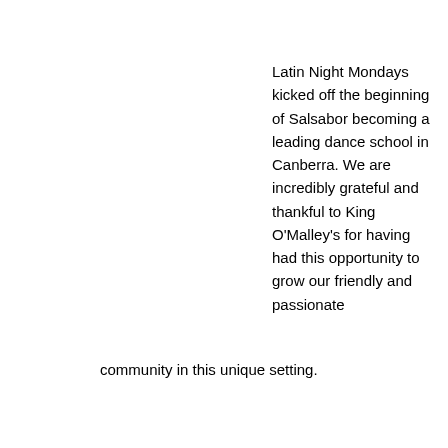Latin Night Mondays kicked off the beginning of Salsabor becoming a leading dance school in Canberra. We are incredibly grateful and thankful to King O'Malley's for having had this opportunity to grow our friendly and passionate community in this unique setting.